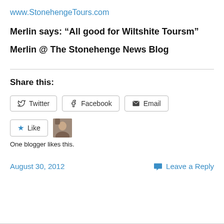www.StonehengeTours.com
Merlin says: “All good for Wiltshite Toursm”
Merlin @ The Stonehenge News Blog
Share this:
Twitter  Facebook  Email
Like  One blogger likes this.
August 30, 2012    Leave a Reply